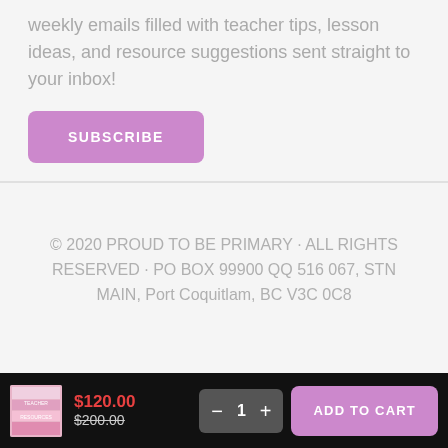weekly emails filled with teacher tips, lesson ideas, and resource suggestions sent straight to your inbox!
SUBSCRIBE
© 2020 PROUD TO BE PRIMARY • ALL RIGHTS RESERVED • PO BOX 99900 QQ 516 067, STN MAIN, Port Coquitlam, BC V3C 0C8
$120.00
$200.00
1
ADD TO CART